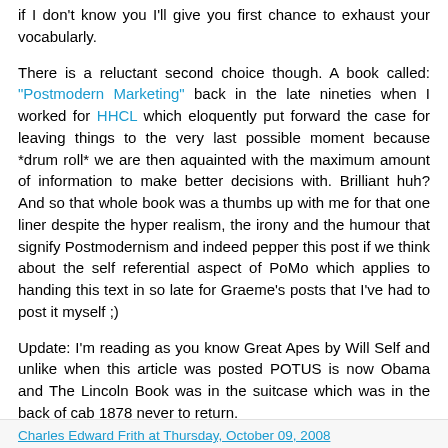if I don't know you I'll give you first chance to exhaust your vocabularly.
There is a reluctant second choice though. A book called: "Postmodern Marketing" back in the late nineties when I worked for HHCL which eloquently put forward the case for leaving things to the very last possible moment because *drum roll* we are then aquainted with the maximum amount of information to make better decisions with. Brilliant huh? And so that whole book was a thumbs up with me for that one liner despite the hyper realism, the irony and the humour that signify Postmodernism and indeed pepper this post if we think about the self referential aspect of PoMo which applies to handing this text in so late for Graeme's posts that I've had to post it myself ;)
Update: I'm reading as you know Great Apes by Will Self and unlike when this article was posted POTUS is now Obama and The Lincoln Book was in the suitcase which was in the back of cab 1878 never to return.
Charles Edward Frith at Thursday, October 09, 2008